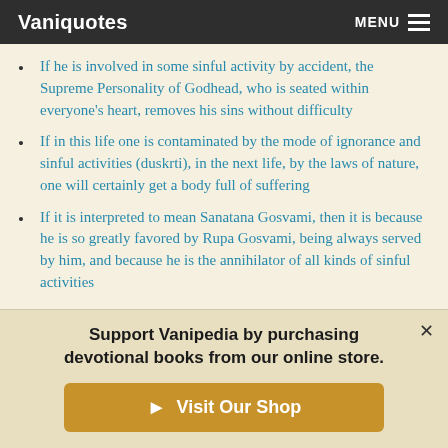Vaniquotes  MENU
If he is involved in some sinful activity by accident, the Supreme Personality of Godhead, who is seated within everyone's heart, removes his sins without difficulty
If in this life one is contaminated by the mode of ignorance and sinful activities (duskrti), in the next life, by the laws of nature, one will certainly get a body full of suffering
If it is interpreted to mean Sanatana Gosvami, then it is because he is so greatly favored by Rupa Gosvami, being always served by him, and because he is the annihilator of all kinds of sinful activities
Support Vanipedia by purchasing devotional books from our online store.
Visit Our Shop